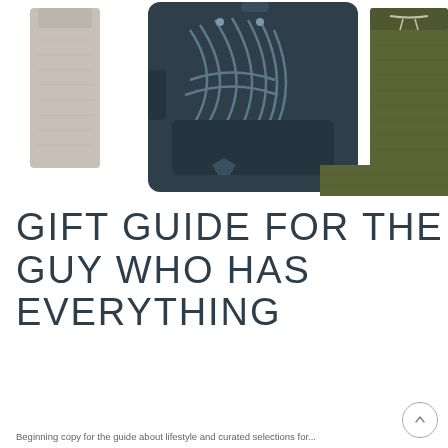[Figure (photo): Product collage showing a gray athletic shirt on the left, a dark navy/teal backpack in the center, and olive green athletic shorts on the right against a white background.]
GIFT GUIDE FOR THE GUY WHO HAS EVERYTHING
Beginning copy for the article about lifestyle and curated selections for...